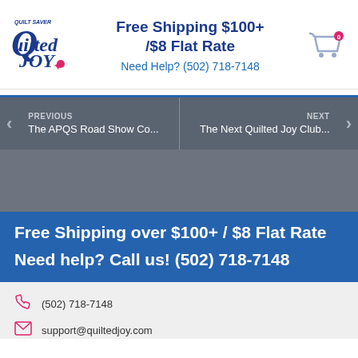Free Shipping $100+ /$8 Flat Rate — Need Help? (502) 718-7148
PREVIOUS — The APQS Road Show Co... | NEXT — The Next Quilted Joy Club...
Free Shipping over $100+ / $8 Flat Rate
Need help? Call us! (502) 718-7148
(502) 718-7148
support@quiltedjoy.com